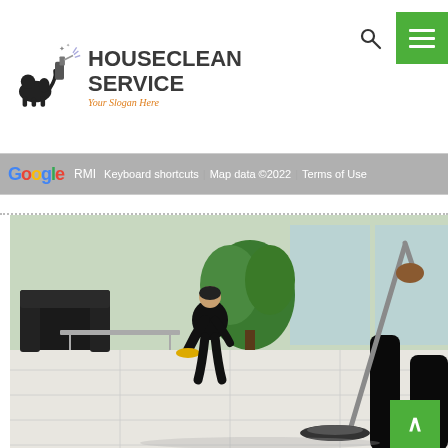[Figure (logo): HouseClean Service logo with cleaning spray bottle icon and text 'HOUSECLEAN SERVICE' with italic orange slogan 'Your Slogan Here']
[Figure (screenshot): Google Maps bar showing Google logo, RMI text, Keyboard shortcuts, Map data 2022, Terms of Use links on grey background]
[Figure (photo): Two cleaning service workers in black uniforms mopping and cleaning a white tiled floor in a modern office lobby with plants and black furniture]